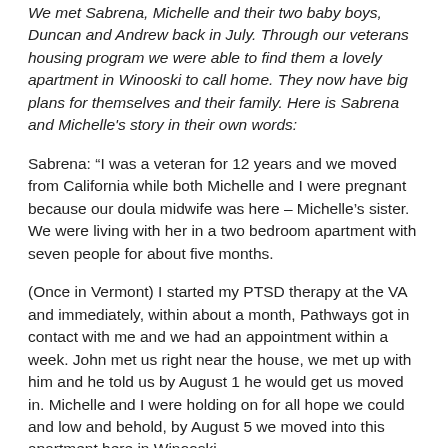We met Sabrena, Michelle and their two baby boys, Duncan and Andrew back in July. Through our veterans housing program we were able to find them a lovely apartment in Winooski to call home. They now have big plans for themselves and their family. Here is Sabrena and Michelle's story in their own words:
Sabrena: “I was a veteran for 12 years and we moved from California while both Michelle and I were pregnant because our doula midwife was here – Michelle’s sister. We were living with her in a two bedroom apartment with seven people for about five months.
(Once in Vermont) I started my PTSD therapy at the VA and immediately, within about a month, Pathways got in contact with me and we had an appointment within a week. John met us right near the house, we met up with him and he told us by August 1 he would get us moved in. Michelle and I were holding on for all hope we could and low and behold, by August 5 we moved into this apartment here in Winooski.
Pathways has such a wonderful group of people who work with Annie our landlord. Annie met with us and she was wonderful ... she knows what great work Pathways does, how much they help